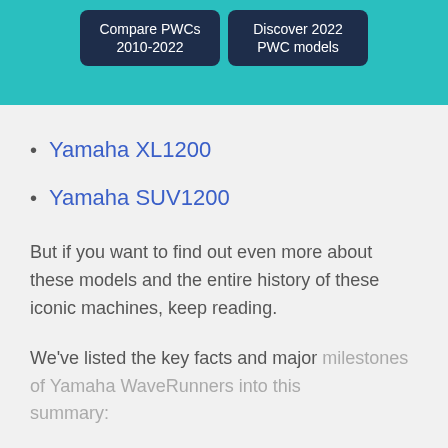Compare PWCs 2010-2022 | Discover 2022 PWC models
Yamaha XL1200
Yamaha SUV1200
But if you want to find out even more about these models and the entire history of these iconic machines, keep reading.
We've listed the key facts and major milestones of Yamaha WaveRunners into this summary: